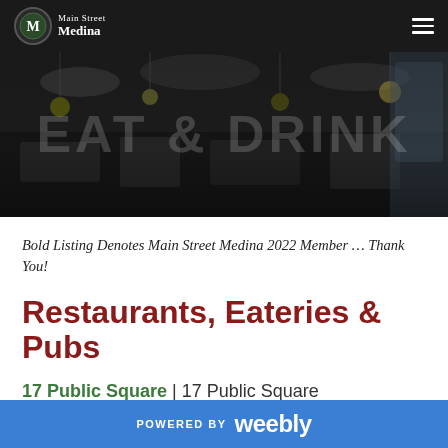Main Street Medina
[Figure (photo): Dark hero banner showing a restaurant interior with hanging lights and kitchen equipment, overlaid with large semi-transparent text reading EAT & DRINK]
Bold Listing Denotes Main Street Medina 2022 Member … Thank You!
Restaurants, Eateries & Pubs
17 Public Square | 17 Public Square
POWERED BY weebly